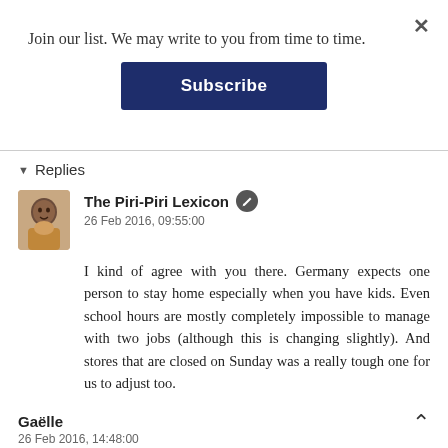Join our list. We may write to you from time to time.
Subscribe
▼ Replies
The Piri-Piri Lexicon
26 Feb 2016, 09:55:00
I kind of agree with you there. Germany expects one person to stay home especially when you have kids. Even school hours are mostly completely impossible to manage with two jobs (although this is changing slightly). And stores that are closed on Sunday was a really tough one for us to adjust too.
Gaëlle
26 Feb 2016, 14:48:00